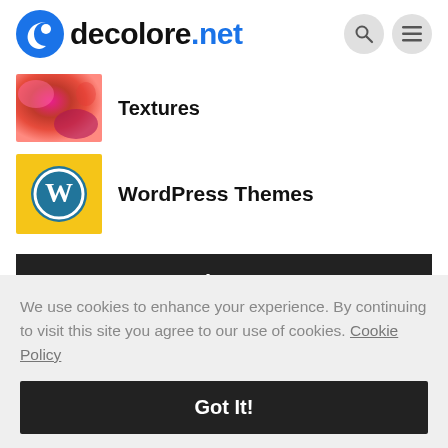decolore.net
Textures
WordPress Themes
Popular Posts
We use cookies to enhance your experience. By continuing to visit this site you agree to our use of cookies. Cookie Policy
Got It!